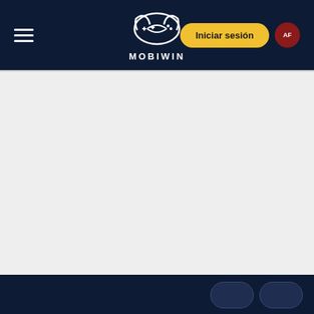[Figure (screenshot): MOBIWIN website navigation header with dark navy background, hamburger menu on the left, MOBIWIN logo (game controller icon) in the center, 'Iniciar sesión' yellow pill button on the right, and a dark red circular language selector button labeled 'AF'.]
Iniciar sesión
[Figure (screenshot): Gray main content area, empty, below the navigation bar.]
[Figure (screenshot): Bottom dark navy bar with partial text and two rounded button outlines visible at the bottom of the page.]